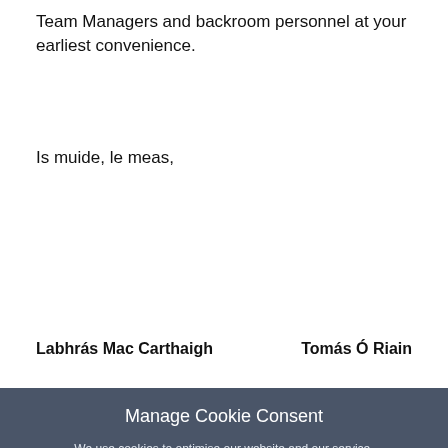Team Managers and backroom personnel at your earliest convenience.
Is muide, le meas,
Labhrás Mac Carthaigh        Tomás Ó Riain
Manage Cookie Consent
We use cookies to optimise our website and our service.
Accept
Deny
View Preferences